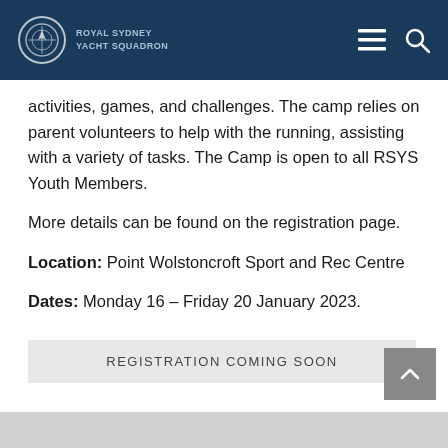Royal Sydney Yacht Squadron
activities, games, and challenges. The camp relies on parent volunteers to help with the running, assisting with a variety of tasks. The Camp is open to all RSYS Youth Members.
More details can be found on the registration page.
Location: Point Wolstoncroft Sport and Rec Centre
Dates: Monday 16 – Friday 20 January 2023.
REGISTRATION COMING SOON